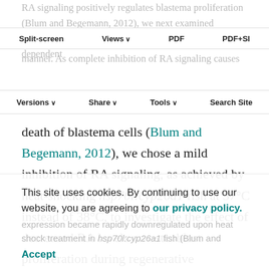RA signaling positively regulates blastema proliferation (Blum and Begemann, 2012), we next examined whether preosteoblasts also proliferate in an RA-dependent manner. As complete inhibition of RA signaling causes
Split-screen   Views   PDF   PDF+SI
Versions   Share   Tools   Search Site
death of blastema cells (Blum and Begemann, 2012), we chose a mild inhibition of RA signaling, as achieved by heat-shocking hsp70l:cyp26a1 fish at 37°C instead of 38°C, to investigate the effect of decreased RA levels on osteoblast proliferation during regenerative outgrowth. To estimate the reduction in RA levels upon heat-shocking fish at 37°C in comparison to heat-shocking at 38°C, we examined expression levels of axin2 and cyp26b1 at 3 dpa. Wnt/β-catenin signaling in the regenerating fin is positively
This site uses cookies. By continuing to use our website, you are agreeing to our privacy policy.
Accept
expression became rapidly downregulated upon heat shock treatment in hsp70l:cyp26a1 fish (Blum and